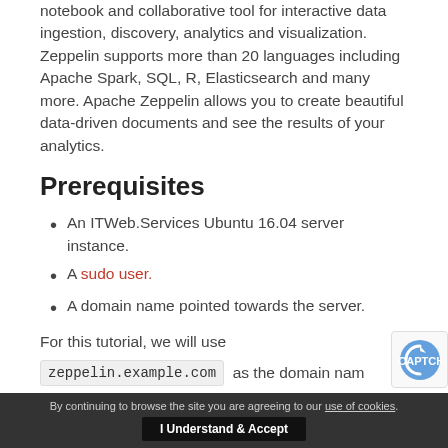notebook and collaborative tool for interactive data ingestion, discovery, analytics and visualization. Zeppelin supports more than 20 languages including Apache Spark, SQL, R, Elasticsearch and many more. Apache Zeppelin allows you to create beautiful data-driven documents and see the results of your analytics.
Prerequisites
An ITWeb.Services Ubuntu 16.04 server instance.
A sudo user.
A domain name pointed towards the server.
For this tutorial, we will use zeppelin.example.com as the domain name
By continuing to browse the site you are agreeing to our use of cookies. I Understand & Accept